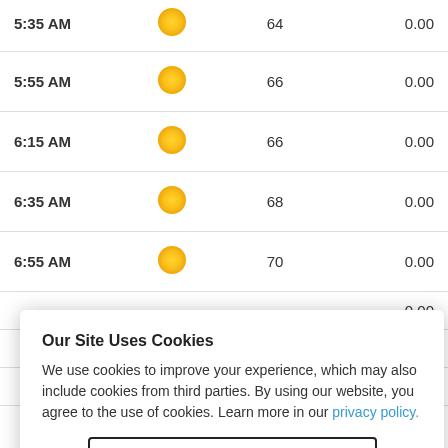| Time | Condition | Temp | Precip |
| --- | --- | --- | --- |
| 5:55 AM | sunny | 66 | 0.00 |
| 6:15 AM | sunny | 66 | 0.00 |
| 6:35 AM | sunny | 68 | 0.00 |
| 6:55 AM | sunny | 70 | 0.00 |
|  |  |  | 0.00 |
|  |  |  | 0.00 |
|  |  |  | 0.00 |
|  |  |  | 0.00 |
Our Site Uses Cookies
We use cookies to improve your experience, which may also include cookies from third parties. By using our website, you agree to the use of cookies. Learn more in our privacy policy.